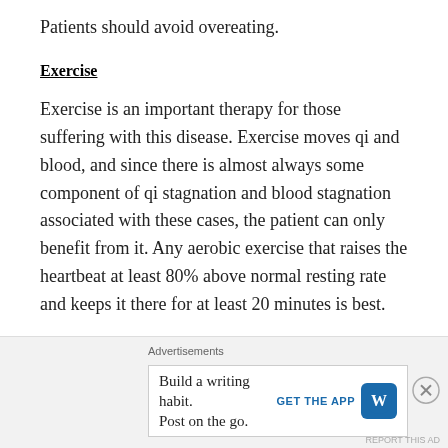Patients should avoid overeating.
Exercise
Exercise is an important therapy for those suffering with this disease. Exercise moves qi and blood, and since there is almost always some component of qi stagnation and blood stagnation associated with these cases, the patient can only benefit from it. Any aerobic exercise that raises the heartbeat at least 80% above normal resting rate and keeps it there for at least 20 minutes is best.
Tui Na
Tui Na Chinese medical massage can be used in
[Figure (other): Advertisement banner: 'Build a writing habit. Post on the go.' with GET THE APP button and WordPress logo]